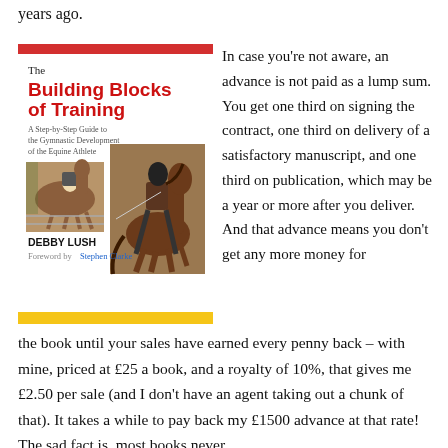years ago.
[Figure (photo): Book cover of 'The Building Blocks of Training' by Debby Lush, A Step-by-Step Guide to the Gymnastic Development of the Equine Athlete. Shows horse and rider photographs. Red bar at top, yellow bar at bottom. Foreword by Stephen Clarke.]
In case you're not aware, an advance is not paid as a lump sum. You get one third on signing the contract, one third on delivery of a satisfactory manuscript, and one third on publication, which may be a year or more after you deliver. And that advance means you don't get any more money for the book until your sales have earned every penny back – with mine, priced at £25 a book, and a royalty of 10%, that gives me £2.50 per sale (and I don't have an agent taking out a chunk of that). It takes a while to pay back my £1500 advance at that rate! The sad fact is, most books never